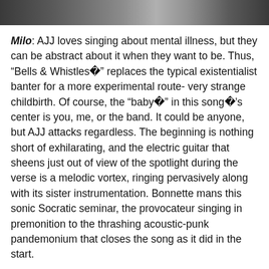[Figure (photo): A dark photo strip at the top of the page showing partial figures/people in greyscale]
Milo: AJJ loves singing about mental illness, but they can be abstract about it when they want to be. Thus, “Bells & Whistles�” replaces the typical existentialist banter for a more experimental route- very strange childbirth. Of course, the “baby�” in this song�’s center is you, me, or the band. It could be anyone, but AJJ attacks regardless. The beginning is nothing short of exhilarating, and the electric guitar that sheens just out of view of the spotlight during the verse is a melodic vortex, ringing pervasively along with its sister instrumentation. Bonnette mans this sonic Socratic seminar, the provocateur singing in premonition to the thrashing acoustic-punk pandemonium that closes the song as it did in the start.
What�’s more, “Bells & Whistles�” really feels like a